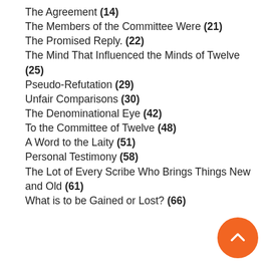The Agreement (14)
The Members of the Committee Were (21)
The Promised Reply. (22)
The Mind That Influenced the Minds of Twelve (25)
Pseudo-Refutation (29)
Unfair Comparisons (30)
The Denominational Eye (42)
To the Committee of Twelve (48)
A Word to the Laity (51)
Personal Testimony (58)
The Lot of Every Scribe Who Brings Things New and Old (61)
What is to be Gained or Lost? (66)